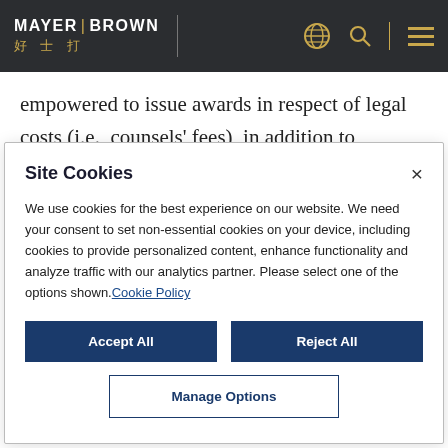MAYER BROWN 好士打
empowered to issue awards in respect of legal costs (i.e., counsels' fees), in addition to arbitration costs (i.e., institutional and tribunal fees).  Previously, the Dubai courts had ruled that
Site Cookies
We use cookies for the best experience on our website. We need your consent to set non-essential cookies on your device, including cookies to provide personalized content, enhance functionality and analyze traffic with our analytics partner. Please select one of the options shown. Cookie Policy
Accept All
Reject All
Manage Options